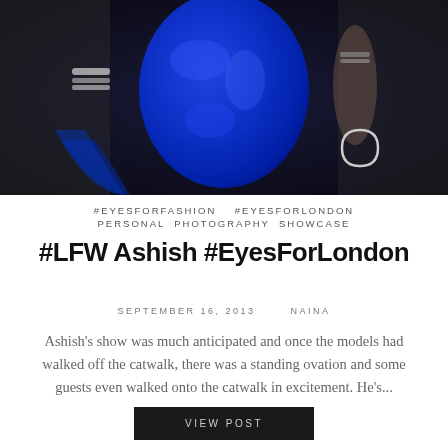[Figure (photo): Fashion model wearing a royal blue sequined dress, holding a blue fabric, with silver bangles/cuffs on wrists. Dark background. A circular logo mark visible lower right.]
#EYESFORFASHION   #EYESFORLONDON   PERSONAL PHOTOGRAPHY SHOWCASE
#LFW Ashish #EyesForLondon
SEPTEMBER 16, 2013   NAINA
Ashish's show was much anticipated and once the models had walked off the catwalk, there was a standing ovation and some guests even walked onto the catwalk in excitement. He's...
VIEW POST